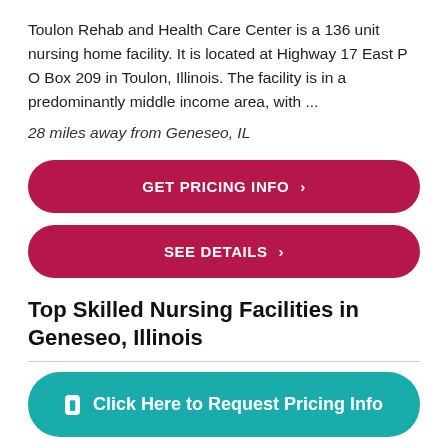Toulon Rehab and Health Care Center is a 136 unit nursing home facility. It is located at Highway 17 East P O Box 209 in Toulon, Illinois. The facility is in a predominantly middle income area, with ...
28 miles away from Geneseo, IL
GET PRICING INFO >
SEE DETAILS >
Top Skilled Nursing Facilities in Geneseo, Illinois
Click Here to Request Pricing Info